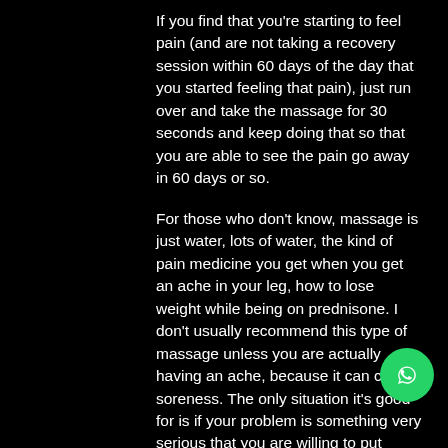If you find that you're starting to feel pain (and are not taking a recovery session within 60 days of the day that you started feeling that pain), just run over and take the massage for 30 seconds and keep doing that so that you are able to see the pain go away in 60 days or so.
For those who don't know, massage is just water, lots of water, the kind of pain medicine you get when you get an ache in your leg, how to lose weight while being on prednisone. I don't usually recommend this type of massage unless you are actually having an ache, because it can cause soreness. The only situation it's good for is if your problem is something very serious that you are willing to put yourself through.
My favorite way to recover from your li... sessions is on the treadmill. My wife and I do
[Figure (other): WhatsApp floating action button (green circle with WhatsApp phone/chat icon)]